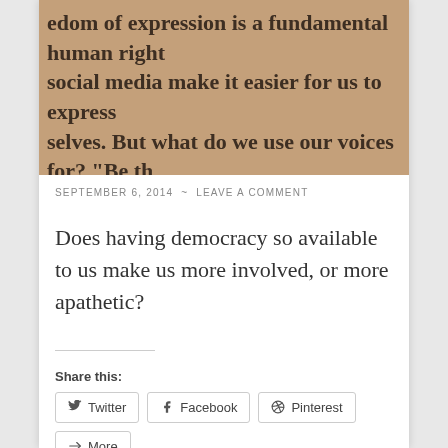[Figure (photo): Cropped photo of brown/tan board with large bold text reading: 'edom of expression is a fundamental human right social media make it easier for us to express selves. But what do we use our voices for? "Be th nge you wish to see in the world," said Mahatma ndhi. We want to hear your voice. Take part in the ibition Be Democracy, and have your say. Together create the debate on democracy.']
SEPTEMBER 6, 2014 ~ LEAVE A COMMENT
Does having democracy so available to us make us more involved, or more apathetic?
Share this:
Twitter | Facebook | Pinterest | More